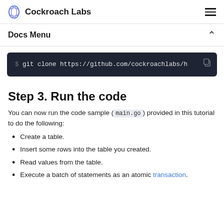Cockroach Labs
Docs Menu
$ git clone https://github.com/cockroachlabs/h
Step 3. Run the code
You can now run the code sample (main.go) provided in this tutorial to do the following:
Create a table.
Insert some rows into the table you created.
Read values from the table.
Execute a batch of statements as an atomic transaction.